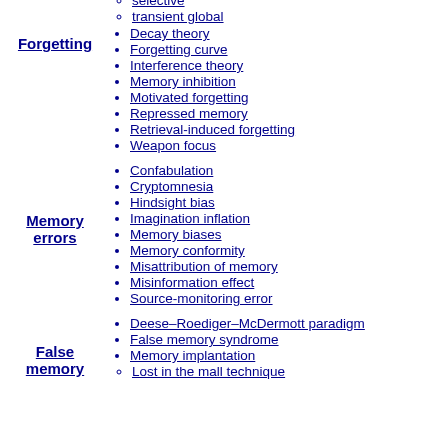selective
transient global
Forgetting
Decay theory
Forgetting curve
Interference theory
Memory inhibition
Motivated forgetting
Repressed memory
Retrieval-induced forgetting
Weapon focus
Memory errors
Confabulation
Cryptomnesia
Hindsight bias
Imagination inflation
Memory biases
Memory conformity
Misattribution of memory
Misinformation effect
Source-monitoring error
False memory
Deese–Roediger–McDermott paradigm
False memory syndrome
Memory implantation
Lost in the mall technique